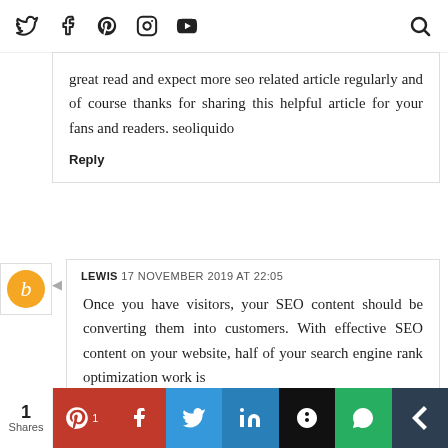Social icons navigation bar with Twitter, Facebook, Pinterest, Instagram, YouTube, and search
great read and expect more seo related article regularly and of course thanks for sharing this helpful article for your fans and readers. seoliquido
Reply
LEWIS 17 NOVEMBER 2019 AT 22:05
Once you have visitors, your SEO content should be converting them into customers. With effective SEO content on your website, half of your search engine rank optimization work is
1 Shares | Pinterest | Facebook | Twitter | LinkedIn | Buffer | WhatsApp | Extra